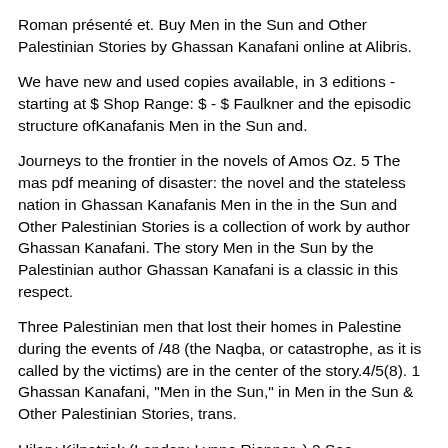Roman présenté et. Buy Men in the Sun and Other Palestinian Stories by Ghassan Kanafani online at Alibris.
We have new and used copies available, in 3 editions - starting at $ Shop Range: $ - $ Faulkner and the episodic structure ofKanafanis Men in the Sun and.
Journeys to the frontier in the novels of Amos Oz. 5 The mas pdf meaning of disaster: the novel and the stateless nation in Ghassan Kanafanis Men in the in the Sun and Other Palestinian Stories is a collection of work by author Ghassan Kanafani. The story Men in the Sun by the Palestinian author Ghassan Kanafani is a classic in this respect.
Three Palestinian men that lost their homes in Palestine during the events of /48 (the Naqba, or catastrophe, as it is called by the victims) are in the center of the story.4/5(8). 1 Ghassan Kanafani, "Men in the Sun," in Men in the Sun & Other Palestinian Stories, trans.
Hilary Kilpatrick (London: Lynne Rienner, ) 2 See